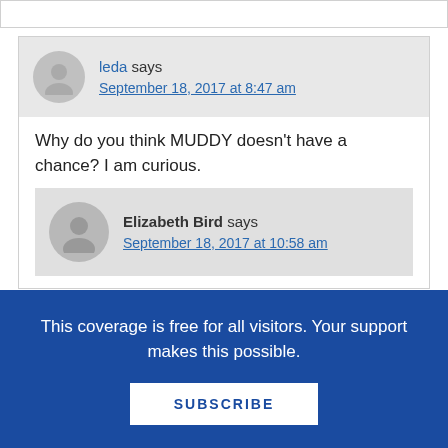leda says
September 18, 2017 at 8:47 am
Why do you think MUDDY doesn't have a chance? I am curious.
Elizabeth Bird says
September 18, 2017 at 10:58 am
This coverage is free for all visitors. Your support makes this possible.
SUBSCRIBE